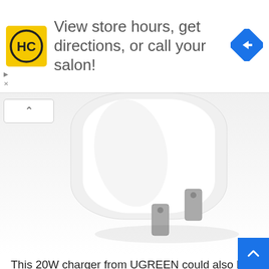[Figure (infographic): Advertisement banner with HC logo (yellow square with HC letters), text 'View store hours, get directions, or call your salon!' and blue diamond navigation icon]
[Figure (photo): Close-up of a white USB wall charger with two metal prongs, against a white/grey background]
This 20W charger from UGREEN could also be rather affordable, coming in at underneath 25W. When you're questioning why such a lot of chargers are capped at 20W, it's as a result of the iPhone. However it'll nonetheless paintings nice at the Galaxy Z Fold 3. And slower charging is in truth higher, as your battery will last more in the end.
At 20W, you will have to see about 50% price in your Galaxy Z